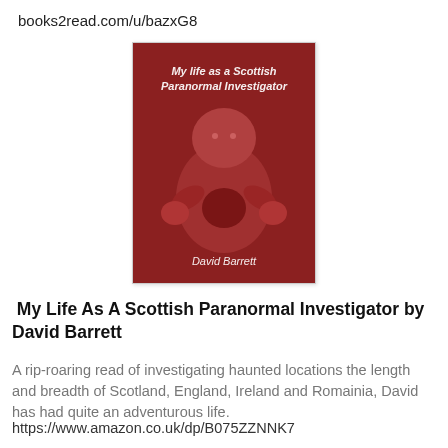books2read.com/u/bazxG8
[Figure (illustration): Book cover of 'My Life as a Scottish Paranormal Investigator' by David Barrett. Red-toned image showing a stuffed doll figure. White italic text on the cover shows the title and author name.]
My Life As A Scottish Paranormal Investigator by David Barrett
A rip-roaring read of investigating haunted locations the length and breadth of Scotland, England, Ireland and Romainia, David has had quite an adventurous life.
https://www.amazon.co.uk/dp/B075ZZNNK7